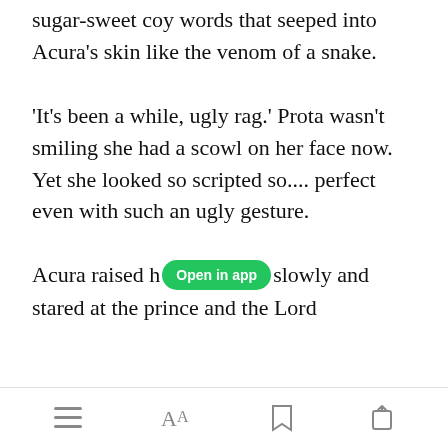sugar-sweet coy words that seeped into Acura's skin like the venom of a snake.
'It's been a while, ugly rag.' Prota wasn't smiling she had a scowl on her face now. Yet she looked so scripted so.... perfect even with such an ugly gesture.
Acura raised h[Open in app]slowly and stared at the prince and the Lord
[menu icon] [font icon] [bookmark icon] [share icon]